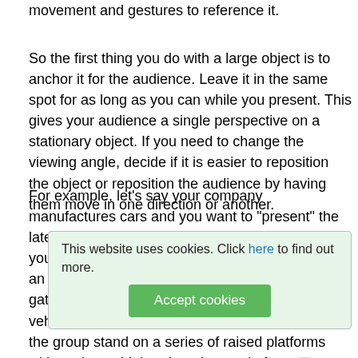movement and gestures to reference it.
So the first thing you do with a large object is to anchor it for the audience. Leave it in the same spot for as long as you can while you present. This gives your audience a single perspective on a stationary object. If you need to change the viewing angle, decide if it is easier to reposition the object or reposition the audience by having them move in one direction or another.
For example, let's say your company manufactures cars and you want to "present" the latest model to a group of car dealers who sell your products. You decide to hold the meeting at an outdoor venue, such as a racetrack, and you gather your group in an open space to show the vehicle. To make sure everyone can see, you have the group stand on a series of raised platforms with each row higher than the row in fro... can de... one end of the car to the other. It doesn't matter which side you